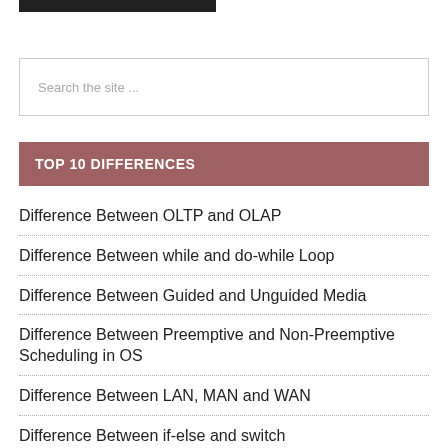[Figure (other): Dark/black horizontal bar at the top of the page]
Search the site ...
TOP 10 DIFFERENCES
Difference Between OLTP and OLAP
Difference Between while and do-while Loop
Difference Between Guided and Unguided Media
Difference Between Preemptive and Non-Preemptive Scheduling in OS
Difference Between LAN, MAN and WAN
Difference Between if-else and switch